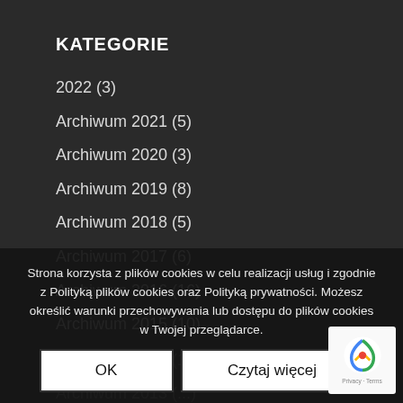KATEGORIE
2022 (3)
Archiwum 2021 (5)
Archiwum 2020 (3)
Archiwum 2019 (8)
Archiwum 2018 (5)
Archiwum 2017 (6)
Archiwum 2016 (16)
Archiwum 2015 (10)
Archiwum 2014 (15)
Archiwum 2013 (...)
Archiwum 2012 (30)
Archiwum 2011 (30)
Archiwum 2010 (...)
Archiwum 2009 (18)
Strona korzysta z plików cookies w celu realizacji usług i zgodnie z Polityką plików cookies oraz Polityką prywatności. Możesz określić warunki przechowywania lub dostępu do plików cookies w Twojej przeglądarce.